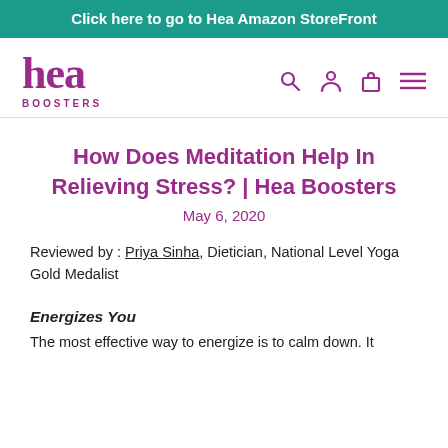Click here to go to Hea Amazon StoreFront
[Figure (logo): Hea Boosters logo in purple]
How Does Meditation Help In Relieving Stress? | Hea Boosters
May 6, 2020
Reviewed by : Priya Sinha, Dietician, National Level Yoga Gold Medalist
Energizes You
The most effective way to energize is to calm down. It